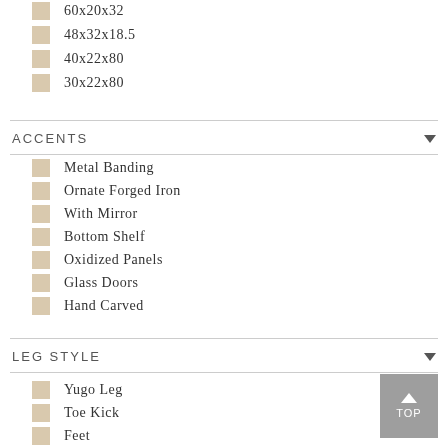60x20x32
48x32x18.5
40x22x80
30x22x80
ACCENTS
Metal Banding
Ornate Forged Iron
With Mirror
Bottom Shelf
Oxidized Panels
Glass Doors
Hand Carved
LEG STYLE
Yugo Leg
Toe Kick
Feet
Turned Legs